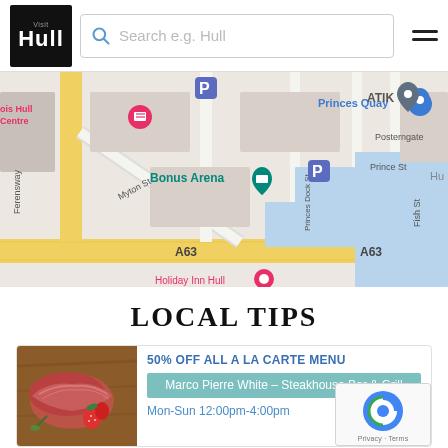Visit Hull – Search e.g. Hull
[Figure (map): Google Maps screenshot showing Hull city centre area with markers for Princes Quay, ATIK, Bonus Arena, Holiday Inn Hull, Ferensway, Myton St, A63 road, Posterngate, Prince St, Fish St, Princes Dock St.]
LOCAL TIPS
[Figure (photo): Photo of sliced cooked steak with strawberries on a wooden board.]
50% OFF ALL A LA CARTE MENU
Marco Pierre White – Steakhouse Bar & Grill
Mon-Sun 12:00pm-4:00pm